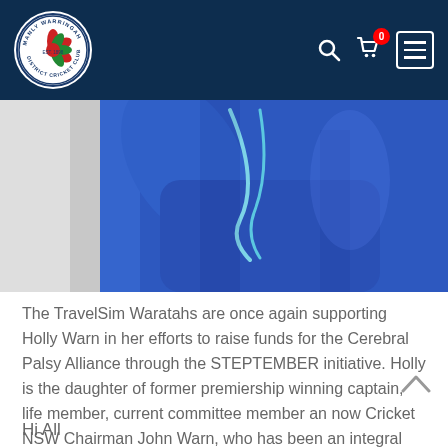Manly Warringah District Cricket Club — navigation header with logo, search, cart (0), and menu
[Figure (photo): Person wearing a royal blue hoodie with a light blue lanyard around their neck, arms raised]
The TravelSim Waratahs are once again supporting Holly Warn in her efforts to raise funds for the Cerebral Palsy Alliance through the STEPTEMBER initiative. Holly is the daughter of former premiership winning captain, life member, current committee member an now Cricket NSW Chairman John Warn, who has been an integral part of our club for many years now. Please take the time to read Holly's message below and get behind this fantastic cause!
Hi All